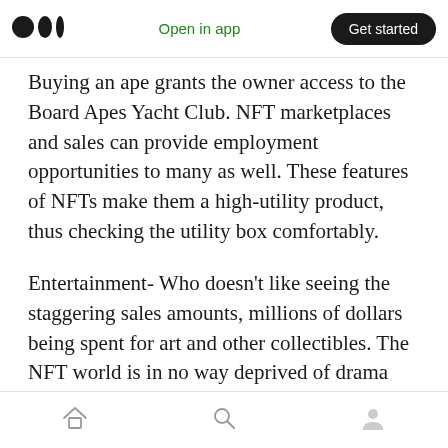Medium logo | Open in app | Get started
Buying an ape grants the owner access to the Board Apes Yacht Club. NFT marketplaces and sales can provide employment opportunities to many as well. These features of NFTs make them a high-utility product, thus checking the utility box comfortably.
Entertainment- Who doesn’t like seeing the staggering sales amounts, millions of dollars being spent for art and other collectibles. The NFT world is in no way deprived of drama and constant entertainment. Moreover, NFTs lead to the formation of micro-communities based on
Home | Search | Profile